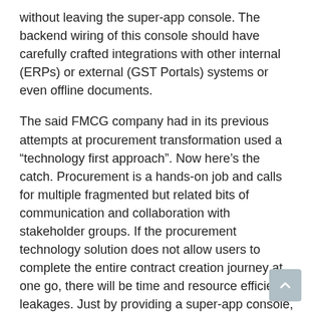without leaving the super-app console. The backend wiring of this console should have carefully crafted integrations with other internal (ERPs) or external (GST Portals) systems or even offline documents.
The said FMCG company had in its previous attempts at procurement transformation used a “technology first approach”. Now here’s the catch. Procurement is a hands-on job and calls for multiple fragmented but related bits of communication and collaboration with stakeholder groups. If the procurement technology solution does not allow users to complete the entire contract creation journey at one go, there will be time and resource efficiency leakages. Just by providing a super-app console, we were able to bring down the contract creation time to a few minutes from several days.
Our apps should become super-apps now.